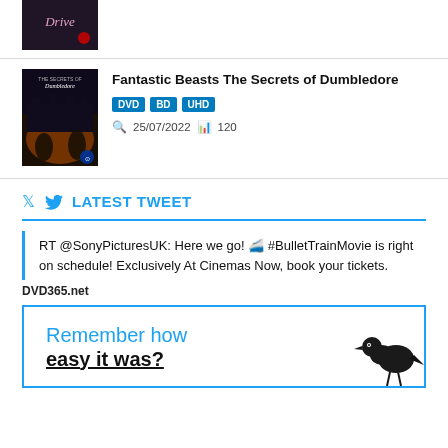[Figure (photo): Drive movie DVD/Blu-ray cover - partial view at top of page]
Fantastic Beasts The Secrets of Dumbledore
DVD  BD  UHD
25/07/2022  120
LATEST TWEET
RT @SonyPicturesUK: Here we go! 🚄 #BulletTrainMovie is right on schedule! Exclusively At Cinemas Now, book your tickets.
DVD365.net
[Figure (screenshot): Advertisement image with text 'Remember how easy it was?' and a crow/raven image, bordered in blue]